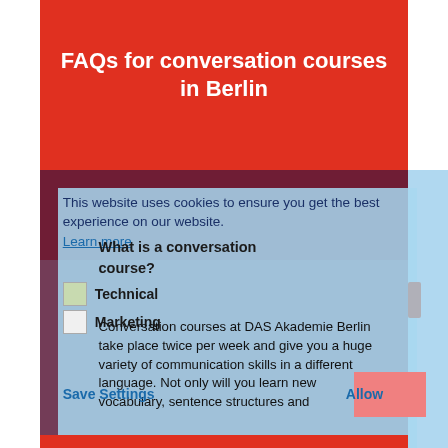FAQs for conversation courses in Berlin
This website uses cookies to ensure you get the best experience on our website.
Learn more
What is a conversation course?
Technical
Marketing
Conversation courses at DAS Akademie Berlin take place twice per week and give you a huge variety of communication skills in a different language. Not only will you learn new vocabulary, sentence structures and
Save Settings
Allow